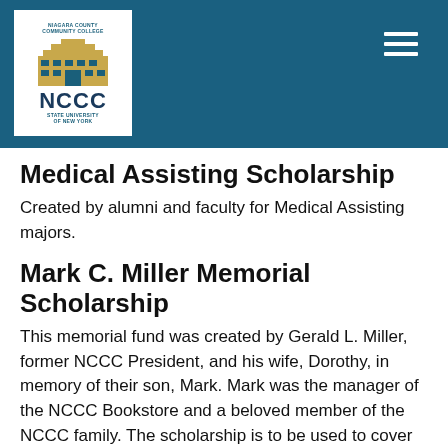NCCC - Niagara County Community College
Medical Assisting Scholarship
Created by alumni and faculty for Medical Assisting majors.
Mark C. Miller Memorial Scholarship
This memorial fund was created by Gerald L. Miller, former NCCC President, and his wife, Dorothy, in memory of their son, Mark. Mark was the manager of the NCCC Bookstore and a beloved member of the NCCC family. The scholarship is to be used to cover the cost of books and supplies while attending NCCC.
Munjal-NagPal Scholarship